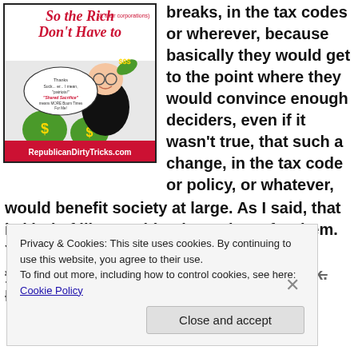[Figure (illustration): Political cartoon image with title 'So the Rich (& their corporations) Don't Have to' with a caricature of a wealthy man holding money bags, speech bubble saying 'Thanks Suck... er... I mean, "patriots!" "Shared Sacrifice" means MORE Boom Times For Me!' and footer 'RepublicanDirtyTricks.com']
breaks, in the tax codes or wherever, because basically they would get to the point where they would convince enough deciders, even if it wasn't true, that such a change, in the tax code or policy, or whatever, would benefit society at large. As I said, that is kind of like reaching home base for them. You got it then; you're home free if you can make that link. For that is
Privacy & Cookies: This site uses cookies. By continuing to use this website, you agree to their use.
To find out more, including how to control cookies, see here: Cookie Policy
Close and accept